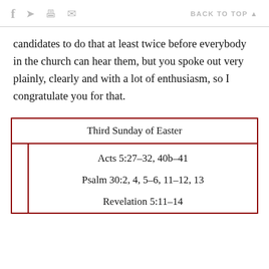f  [twitter]  [print]  [mail]   BACK TO TOP ▲
candidates to do that at least twice before everybody in the church can hear them, but you spoke out very plainly, clearly and with a lot of enthusiasm, so I congratulate you for that.
| Third Sunday of Easter |
| --- |
| Acts 5:27-32, 40b-41 |
| Psalm 30:2, 4, 5-6, 11-12, 13 |
| Revelation 5:11-14 |